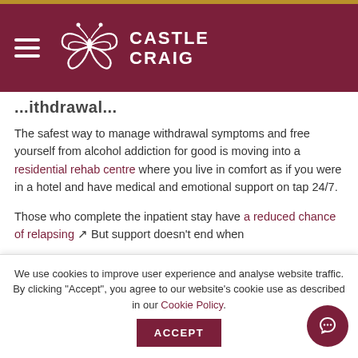[Figure (logo): Castle Craig logo with butterfly emblem and hamburger menu on dark maroon header]
...ithdrawal...
The safest way to manage withdrawal symptoms and free yourself from alcohol addiction for good is moving into a residential rehab centre where you live in comfort as if you were in a hotel and have medical and emotional support on tap 24/7.
Those who complete the inpatient stay have a reduced chance of relapsing ↗ But support doesn't end when
We use cookies to improve user experience and analyse website traffic. By clicking "Accept", you agree to our website's cookie use as described in our Cookie Policy.